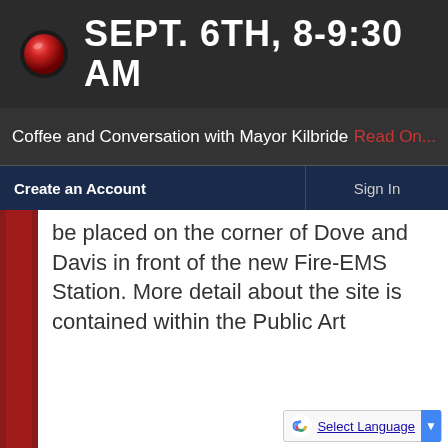🔴 SEPT. 6TH, 8-9:30 AM
Coffee and Conversation with Mayor Kilbride   Read On...
Create an Account   Sign In
be placed on the corner of Dove and Davis in front of the new Fire-EMS Station. More detail about the site is contained within the Public Art